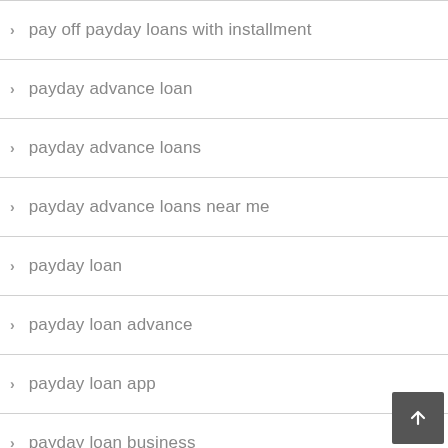pay off payday loans with installment
payday advance loan
payday advance loans
payday advance loans near me
payday loan
payday loan advance
payday loan app
payday loan business
payday loan centers near me